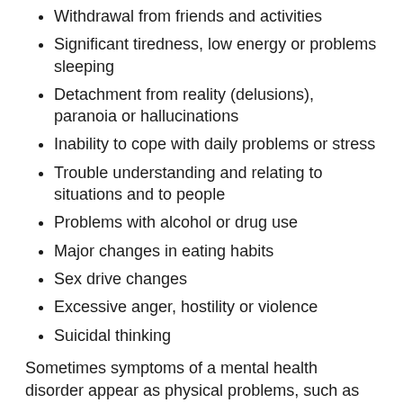Withdrawal from friends and activities
Significant tiredness, low energy or problems sleeping
Detachment from reality (delusions), paranoia or hallucinations
Inability to cope with daily problems or stress
Trouble understanding and relating to situations and to people
Problems with alcohol or drug use
Major changes in eating habits
Sex drive changes
Excessive anger, hostility or violence
Suicidal thinking
Sometimes symptoms of a mental health disorder appear as physical problems, such as stomach pain, back pain, headaches, or other unexplained aches and pains.
When to see a doctor